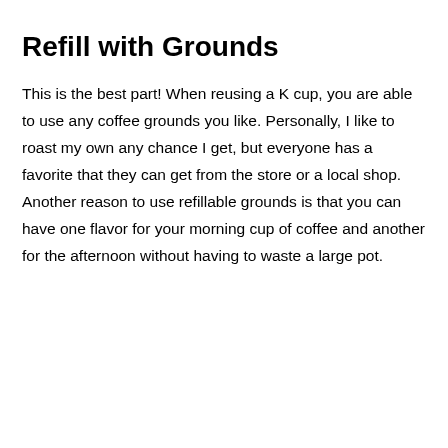Refill with Grounds
This is the best part! When reusing a K cup, you are able to use any coffee grounds you like. Personally, I like to roast my own any chance I get, but everyone has a favorite that they can get from the store or a local shop. Another reason to use refillable grounds is that you can have one flavor for your morning cup of coffee and another for the afternoon without having to waste a large pot.